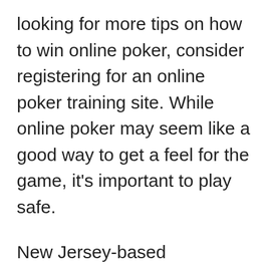looking for more tips on how to win online poker, consider registering for an online poker training site. While online poker may seem like a good way to get a feel for the game, it's important to play safe.
New Jersey-based Pokerstars is the world's largest online poker site. You can customize your experience using their operating software, which includes four-color decks, auto-rebuy, and fast deposits. Online poker sites also offer unique game variations such as multi-table games. They are also popular for tournaments and have many players ranging in stakes from free to thousands. With those